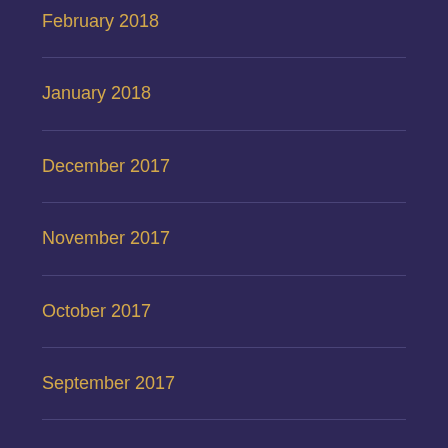February 2018
January 2018
December 2017
November 2017
October 2017
September 2017
August 2017
July 2017
May 2017